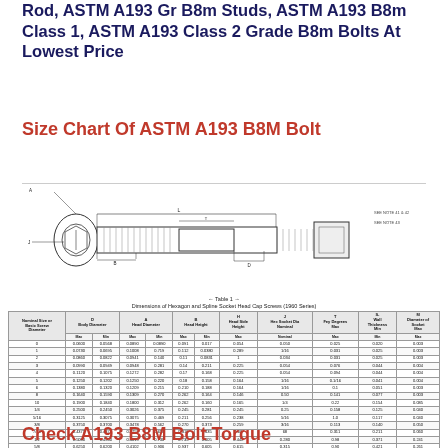Rod, ASTM A193 Gr B8m Studs, ASTM A193 B8m Class 1, ASTM A193 Class 2 Grade B8m Bolts At Lowest Price
Size Chart Of ASTM A193 B8M Bolt
[Figure (engineering-diagram): Technical engineering drawing of a hexagon socket head cap screw showing cross-section with labeled dimensions including body diameter, head diameter, head height, hex socket size, and other dimensional annotations. Below the drawing is Table 1 - Dimensions of Hexagon and Spline Socket Head Cap Screws (1960 Series).]
| Nominal Size or Basic Screw Diameter | D Body Diameter Max | D Body Diameter Min | A Head Diameter Max | A Head Diameter Min | B Head Height Max | B Head Height Min | H Head Side Height Max | J Hex Socket Dia Nominal | T Fey Degrees Max | S-Wall Thickness Min | M-Diameter of Socket Max |
| --- | --- | --- | --- | --- | --- | --- | --- | --- | --- | --- | --- |
| 0 | 0.0600 | 0.0568 | 0.0890 | 0.0890 | 0.091 | 0.017 | 0.054 | 0.050 | 0.025 | 0.020 | 0.003 |
| 1 | 0.0730 | 0.0695 | 0.1008 | 0.719 | 0.112 | 0.0380 | 0.289 | 1/16 | 0.031 | 0.025 | 0.003 |
| 2 | 0.0860 | 0.0822 | 0.0941 | 0.140 | 0.11 | 0.0831 | 1 | 0.034 | 0.031 | 0.025 | 0.003 |
| 3 | 0.0990 | 0.0949 | 0.0948 | 0.281 | 0.14 | 0.211 | 0.225 | 0.054 | 0.076 | 0.044 | 0.004 |
| 4 | 0.1120 | 0.1075 | 0.1272 | 0.282 | 0.17 | 0.168 | 0.225 | 0.054 | 0.094 | 0.044 | 0.004 |
| 5 | 0.1250 | 0.1202 | 0.1250 | 0.220 | 0.18 | 0.158 | 0.164 | 0.1/16 | 0.1/16 | 0.041 | 0.004 |
| 6 | 0.1380 | 0.1320 | 0.1209 | 0.215 | 0.210 | 0.188 | 0.164 | 1/16 | 0.1 | 0.051 | 0.003 |
| 8 | 0.1640 | 0.1590 | 0.1309 | 0.270 | 0.262 | 0.164 | 0.146 | 0.50 | 0.141 | 0.077 | 0.003 |
| 10 | 0.1900 | 0.1840 | 0.1800 | 0.312 | 0.262 | 0.160 | 0.165 | 1/4 | 0.22 | 0.154 | 0.085 | 0.005 |
| 1/4 | 0.2500 | 0.2450 | 0.3026 | 0.375 | 0.245 | 0.281 | 0.245 | 0.25 | 0.158 | 0.125 | 0.040 |
| 5/16 | 0.3125 | 0.3075 | 0.3075 | 0.469 | 0.211 | 0.256 | 0.238 | 5/16 | 1.0 | 0.117 | 0.040 |
| 3/8 | 0.3750 | 0.3700 | 0.3478 | 0.562 | 0.270 | 0.373 | 0.259 | 3/16 | 0.113 | 0.140 | 0.050 |
| 7/16 | 0.4375 | 0.4375 | 0.4759 | 0.656 | 0.310 | 0.435 | 1.00 | 68 | 0.311 | 0.211 | 0.060 |
| 1/2 | 0.5000 | 0.4900 | 0.4019 | 0.730 | 0.735 | 0.605 | 0.442 | 0.280 | 0.98 | 0.371 | 0.241 | 0.610 |
| 5/8 | 0.6250 | 0.6200 | 0.4102 | 0.906 | 0.937 | 0.605 | 0.615 | 0.315 | 0.90 | 0.421 | 0.261 | 0.415 |
| 3/4 | 0.7500 | 0.7430 | 0.7408 | 1.125 | 1.107 | 0.750 | 0.740 | 0.075 | 0.625 | 0.375 | 0.296 | 0.515 |
| 7/8 | 0.8750 | 0.8680 | 0.5646 | 1.312 | 0.875 | 0.854 | 1 | 94 | 0.739 | 0.375 | 0.415 | 0.875 |
| 1 | 1.0000 | 0.9900 | 0.4608 | 1.500 | 1.475 | 0.955 | 0.965 | 94 | 0.750 | 0.495 | 0.300 | 0.815 |
Check A193 B8M Bolt Torque